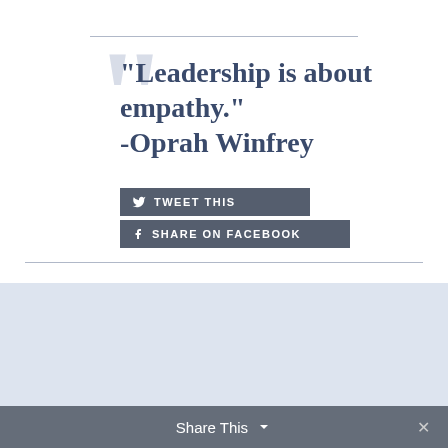“Leadership is about empathy.” -Oprah Winfrey
TWEET THIS
SHARE ON FACEBOOK
In terms of connection, the basis is empathy. Is it possible to develop empathy? What is
Share This